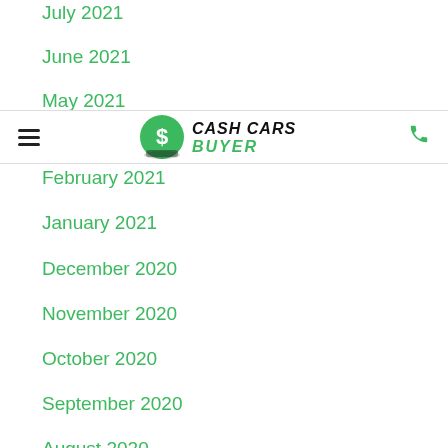July 2021
June 2021
May 2021
[Figure (logo): Cash Cars Buyer logo: green circular emblem with dollar sign and car silhouette, black bold italic text CASH CARS BUYER]
February 2021
January 2021
December 2020
November 2020
October 2020
September 2020
August 2020
July 2020
June 2020
May 2020